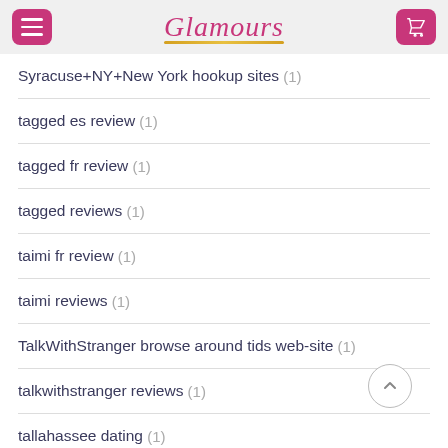Glamours
Syracuse+NY+New York hookup sites (1)
tagged es review (1)
tagged fr review (1)
tagged reviews (1)
taimi fr review (1)
taimi reviews (1)
TalkWithStranger browse around tids web-site (1)
talkwithstranger reviews (1)
tallahassee dating (1)
Tampa+FL+Florida wikipedia reference (1)